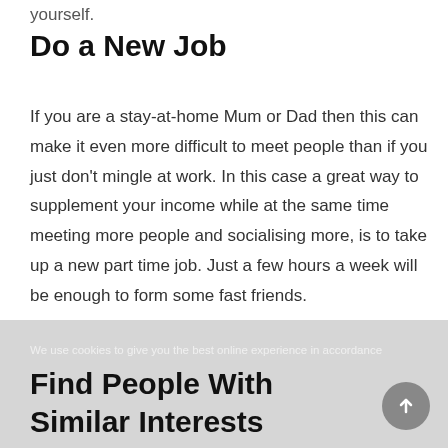yourself.
Do a New Job
If you are a stay-at-home Mum or Dad then this can make it even more difficult to meet people than if you just don't mingle at work. In this case a great way to supplement your income while at the same time meeting more people and socialising more, is to take up a new part time job. Just a few hours a week will be enough to form some fast friends.
We use cookies to give you the best online experience in accordance
Find People With Similar Interests